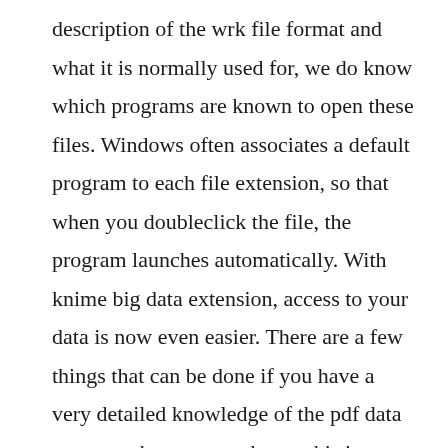description of the wrk file format and what it is normally used for, we do know which programs are known to open these files. Windows often associates a default program to each file extension, so that when you doubleclick the file, the program launches automatically. With knime big data extension, access to your data is now even easier. There are a few things that can be done if you have a very detailed knowledge of the pdf data structure, but as an end user, this is not an option. A file extension is the set of three or four characters at the end of a file